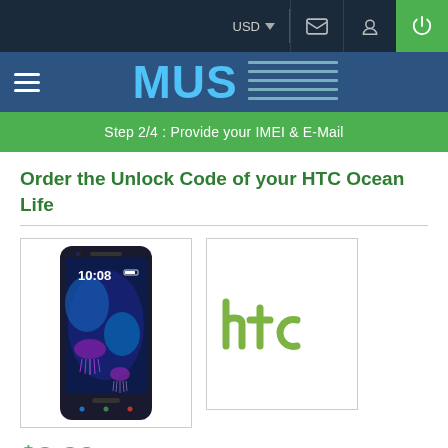USD
[Figure (logo): MUS website logo with stylized text and horizontal lines on dark blue navigation bar]
Step 2/4 : Provide your IMEI & E-Mail
Order the Unlock Code of your HTC Ocean Life
[Figure (photo): HTC Ocean Life smartphone front view showing screen with 10:08 time and jellyfish wallpaper]
[Figure (logo): HTC brand logo in green color on white background]
$9.99
Change currency